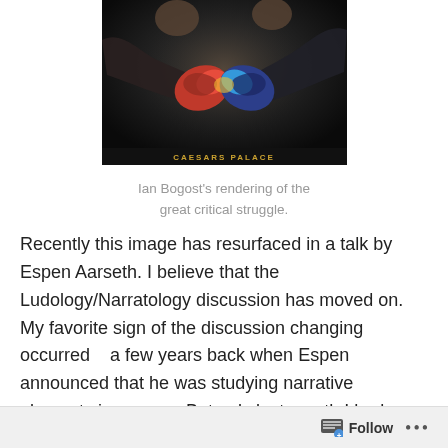[Figure (photo): A dark boxing promotional image showing two boxers with gloves touching/facing each other, with 'CAESARS PALACE' text at the bottom in gold letters]
Ian Bogost's rendering of the great critical struggle.
Recently this image has resurfaced in a talk by Espen Aarseth. I believe that the Ludology/Narratology discussion has moved on.  My favorite sign of the discussion changing occurred   a few years back when Espen announced that he was studying narrative elements in games.  But only last month I had a request for the content of my “preamble” to my DIGRA 2005 talk which I think was published in the Proceedings but may be hard to
Follow ...